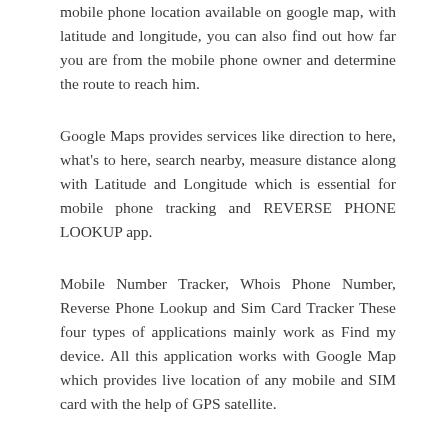mobile phone location available on google map, with latitude and longitude, you can also find out how far you are from the mobile phone owner and determine the route to reach him.
Google Maps provides services like direction to here, what's to here, search nearby, measure distance along with Latitude and Longitude which is essential for mobile phone tracking and REVERSE PHONE LOOKUP app.
Mobile Number Tracker, Whois Phone Number, Reverse Phone Lookup and Sim Card Tracker These four types of applications mainly work as Find my device. All this application works with Google Map which provides live location of any mobile and SIM card with the help of GPS satellite.